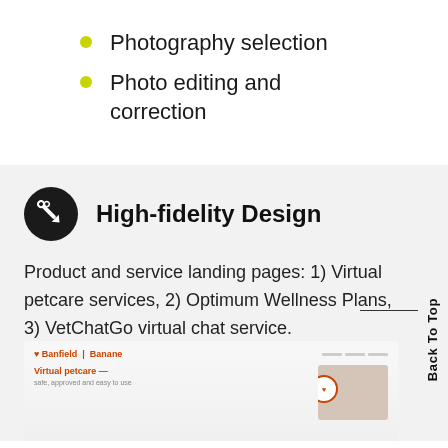Photography selection
Photo editing and correction
High-fidelity Design
Product and service landing pages: 1) Virtual petcare services, 2) Optimum Wellness Plans, 3) VetChatGo virtual chat service.
[Figure (screenshot): Screenshot of a Virtual petcare services landing page showing a navigation bar, orange heading 'Virtual petcare', and a hero image with a person holding a dog.]